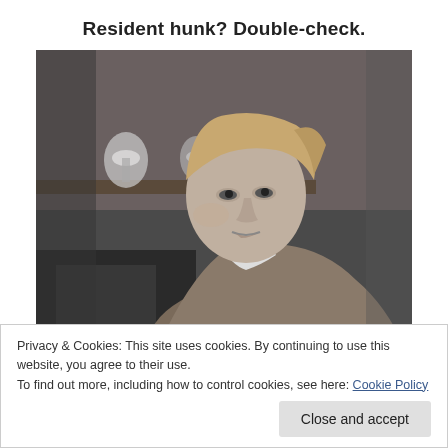Resident hunk? Double-check.
[Figure (photo): Black and white photograph of a young man with medium-length blonde hair, wearing a light collared shirt and a blazer, looking slightly to the side. Indoor setting with shelves visible in the background.]
Privacy & Cookies: This site uses cookies. By continuing to use this website, you agree to their use.
To find out more, including how to control cookies, see here: Cookie Policy
Close and accept